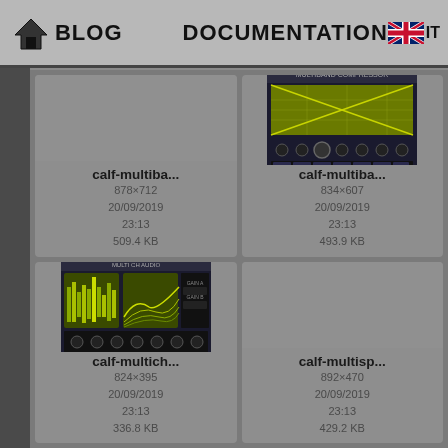BLOG  DOCUMENTATION
[Figure (screenshot): File browser grid showing four audio plugin thumbnails. Top-left: calf-multiba... (grey placeholder), 878×712, 20/09/2019 23:13, 509.4 KB. Top-right: calf-multiba... (multiband compressor plugin screenshot), 834×607, 20/09/2019 23:13, 493.9 KB. Bottom-left: calf-multich... (multich plugin screenshot with waveform displays), 824×395, 20/09/2019 23:13, 336.8 KB. Bottom-right: calf-multisp... (grey placeholder), 892×470, 20/09/2019 23:13, 429.2 KB.]